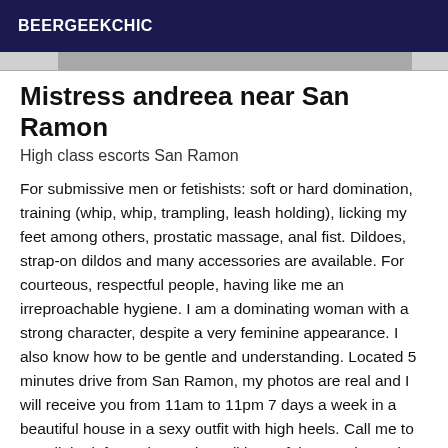BEERGEEKCHIC
[Figure (photo): Partial image strip visible at top of content area]
Mistress andreea near San Ramon
High class escorts San Ramon
For submissive men or fetishists: soft or hard domination, training (whip, whip, trampling, leash holding), licking my feet among others, prostatic massage, anal fist. Dildoes, strap-on dildos and many accessories are available. For courteous, respectful people, having like me an irreproachable hygiene. I am a dominating woman with a strong character, despite a very feminine appearance. I also know how to be gentle and understanding. Located 5 minutes drive from San Ramon, my photos are real and I will receive you from 11am to 11pm 7 days a week in a beautiful house in a sexy outfit with high heels. Call me to get all the information and conditions of the meeting. I do not answer to s.ms, hidden numbers, landline numbers or